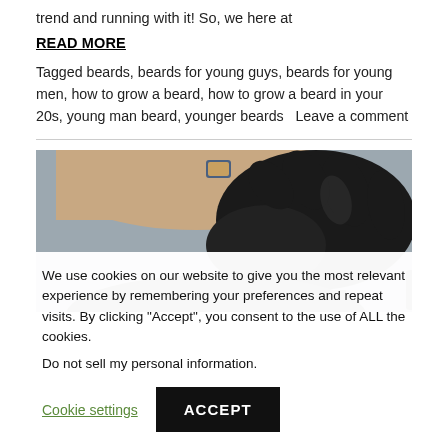trend and running with it! So, we here at
READ MORE
Tagged beards, beards for young guys, beards for young men, how to grow a beard, how to grow a beard in your 20s, young man beard, younger beards   Leave a comment
[Figure (photo): Close-up photo of a person wearing a black glove trimming or styling a beard]
We use cookies on our website to give you the most relevant experience by remembering your preferences and repeat visits. By clicking "Accept", you consent to the use of ALL the cookies.
Do not sell my personal information.